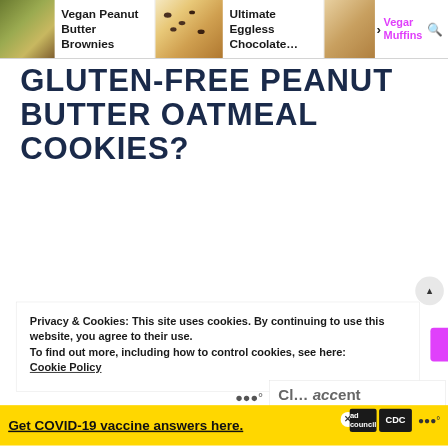Vegan Peanut Butter Brownies | Ultimate Eggless Chocolate... | Vegan Banana Muffins
GLUTEN-FREE PEANUT BUTTER OATMEAL COOKIES?
Privacy & Cookies: This site uses cookies. By continuing to use this website, you agree to their use.
To find out more, including how to control cookies, see here: Cookie Policy
Get COVID-19 vaccine answers here.